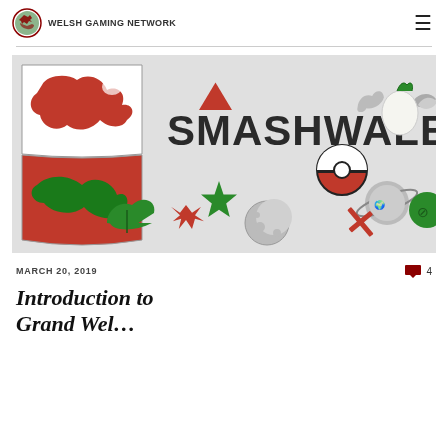WELSH GAMING NETWORK
[Figure (illustration): SmashWales banner image with Welsh dragon emblem and Super Smash Bros themed icons (Pokeball, Triforce, star, moon, bird, eggplant, planet, cross/sword, leaf bird) on a light grey background with SMASHWALE text]
MARCH 20, 2019
4
Introduction to Grand Wel...